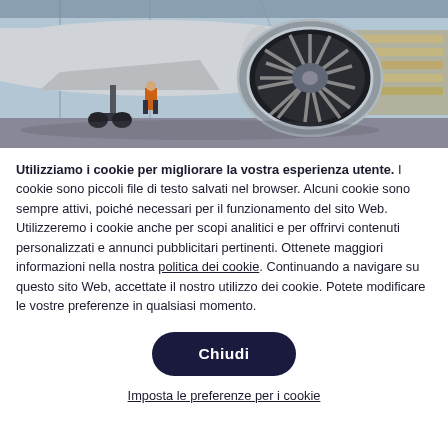[Figure (photo): Photograph of a large commercial aircraft jet engine in an airport maintenance hangar. A worker in an orange vest is visible near the landing gear. The engine turbine blades are prominently visible. Storage shelves visible in background right.]
Utilizziamo i cookie per migliorare la vostra esperienza utente. I cookie sono piccoli file di testo salvati nel browser. Alcuni cookie sono sempre attivi, poiché necessari per il funzionamento del sito Web. Utilizzeremo i cookie anche per scopi analitici e per offrirvi contenuti personalizzati e annunci pubblicitari pertinenti. Ottenete maggiori informazioni nella nostra politica dei cookie. Continuando a navigare su questo sito Web, accettate il nostro utilizzo dei cookie. Potete modificare le vostre preferenze in qualsiasi momento.
Chiudi
Imposta le preferenze per i cookie